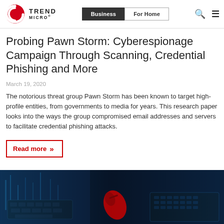Trend Micro — Business | For Home
Probing Pawn Storm: Cyberespionage Campaign Through Scanning, Credential Phishing and More
March 19, 2020
The notorious threat group Pawn Storm has been known to target high-profile entities, from governments to media for years. This research paper looks into the ways the group compromised email addresses and servers to facilitate credential phishing attacks.
Read more »
[Figure (photo): Dark background photo of keyboards and a computer mouse with red highlights, suggesting a cybersecurity/hacking theme]